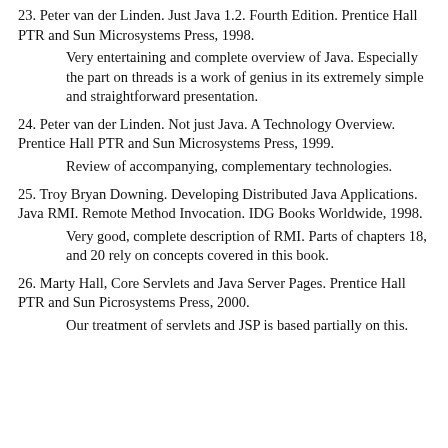23. Peter van der Linden. Just Java 1.2. Fourth Edition. Prentice Hall PTR and Sun Microsystems Press, 1998.
Very entertaining and complete overview of Java. Especially the part on threads is a work of genius in its extremely simple and straightforward presentation.
24. Peter van der Linden. Not just Java. A Technology Overview. Prentice Hall PTR and Sun Microsystems Press, 1999.
Review of accompanying, complementary technologies.
25. Troy Bryan Downing. Developing Distributed Java Applications. Java RMI. Remote Method Invocation. IDG Books Worldwide, 1998.
Very good, complete description of RMI. Parts of chapters 18, and 20 rely on concepts covered in this book.
26. Marty Hall, Core Servlets and Java Server Pages. Prentice Hall PTR and Sun Picrosystems Press, 2000.
Our treatment of servlets and JSP is based partially on this.